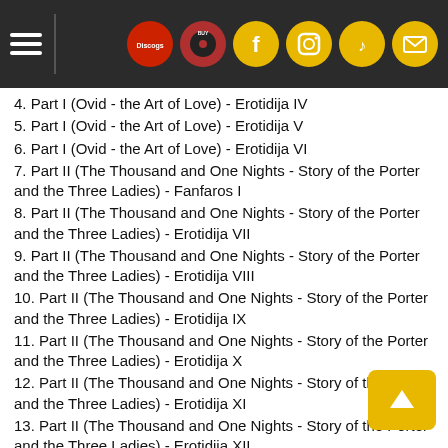Navigation header with menu and social icons
4. Part I (Ovid - the Art of Love) - Erotidija IV
5. Part I (Ovid - the Art of Love) - Erotidija V
6. Part I (Ovid - the Art of Love) - Erotidija VI
7. Part II (The Thousand and One Nights - Story of the Porter and the Three Ladies) - Fanfaros I
8. Part II (The Thousand and One Nights - Story of the Porter and the Three Ladies) - Erotidija VII
9. Part II (The Thousand and One Nights - Story of the Porter and the Three Ladies) - Erotidija VIII
10. Part II (The Thousand and One Nights - Story of the Porter and the Three Ladies) - Erotidija IX
11. Part II (The Thousand and One Nights - Story of the Porter and the Three Ladies) - Erotidija X
12. Part II (The Thousand and One Nights - Story of the Porter and the Three Ladies) - Erotidija XI
13. Part II (The Thousand and One Nights - Story of the Porter and the Three Ladies) - Erotidija XII
14. Part III (Song of Songs - Canticum Canticorum) - Fanfaros II
15. Part III (Song of Songs - Canticum Canticorum) - Erotidija XIII
16. Part III (Song of Songs - Canticum Canticorum) - Erotidija XIV